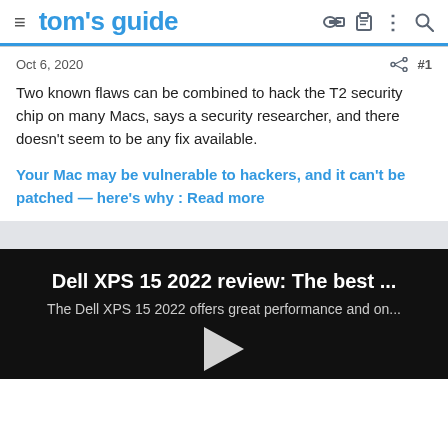tom's guide
Oct 6, 2020
Two known flaws can be combined to hack the T2 security chip on many Macs, says a security researcher, and there doesn't seem to be any fix available.
Your Mac may be vulnerable to hackers, and it can't be patched — here's why : Read more
[Figure (screenshot): Video card with title 'Dell XPS 15 2022 review: The best ...' and subtitle 'The Dell XPS 15 2022 offers great performance and on...' with a play button, on a black background]